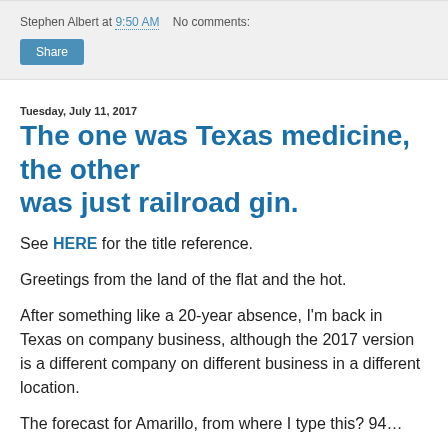Stephen Albert at 9:50 AM   No comments:
Share
Tuesday, July 11, 2017
The one was Texas medicine, the other was just railroad gin.
See HERE for the title reference.
Greetings from the land of the flat and the hot.
After something like a 20-year absence, I'm back in Texas on company business, although the 2017 version is a different company on different business in a different location.
The forecast for Amarillo, from where I type this? 94…